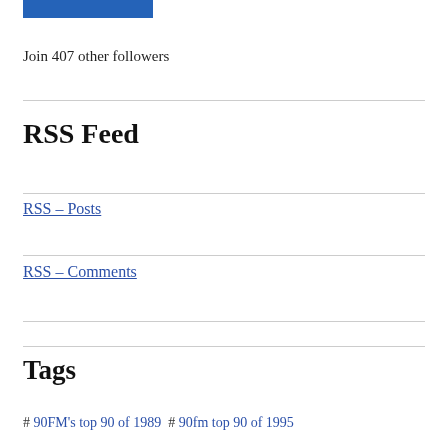[Figure (other): Blue button/bar element at top]
Join 407 other followers
RSS Feed
RSS – Posts
RSS – Comments
Tags
# 90FM's top 90 of 1989  # 90fm top 90 of 1995